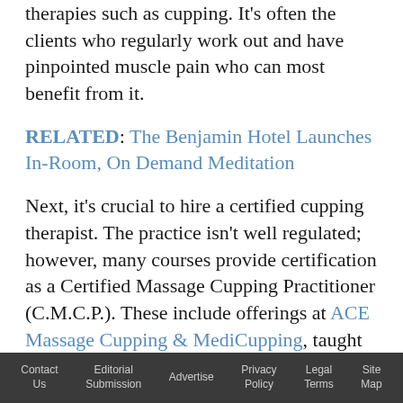therapies such as cupping. It's often the clients who regularly work out and have pinpointed muscle pain who can most benefit from it.
RELATED: The Benjamin Hotel Launches In-Room, On Demand Meditation
Next, it's crucial to hire a certified cupping therapist. The practice isn't well regulated; however, many courses provide certification as a Certified Massage Cupping Practitioner (C.M.C.P.). These include offerings at ACE Massage Cupping & MediCupping, taught at various schools across the country. TJ Mundell, L.M.T., M.T.I., owner of Green Lotus Spa & Wellness in Dallas and Colleyville
Contact Us   Editorial Submission   Advertise   Privacy Policy   Legal Terms   Site Map